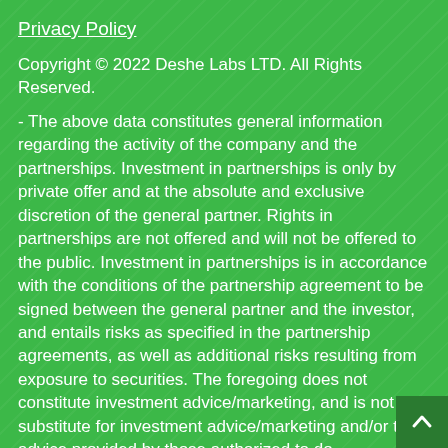Privacy Policy
Copyright © 2022 Deshe Labs LTD. All Rights Reserved.
- The above data constitutes general information regarding the activity of the company and the partnerships. Investment in partnerships is only by private offer and at the absolute and exclusive discretion of the general partner. Rights in partnerships are not offered and will not be offered to the public. Investment in partnerships is in accordance with the conditions of the partnership agreement to be signed between the general partner and the investor, and entails risks as specified in the partnership agreements, as well as additional risks resulting from exposure to securities. The foregoing does not constitute investment advice/marketing, and is not a substitute for investment advice/marketing and/or tax advice provided by those authorized to do